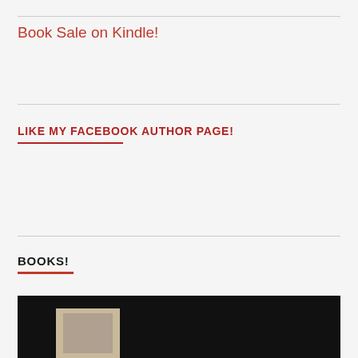Book Sale on Kindle!
LIKE MY FACEBOOK AUTHOR PAGE!
BOOKS!
[Figure (photo): Dark-background image showing a book cover at the bottom of the page]